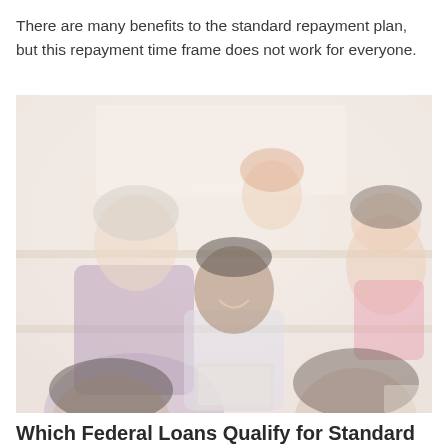There are many benefits to the standard repayment plan, but this repayment time frame does not work for everyone.
[Figure (photo): A faded/washed-out photograph of a diverse group of college students sitting in a lecture hall classroom. Students are smiling and engaged; one student in the center has a laptop open on the desk.]
Which Federal Loans Qualify for Standard